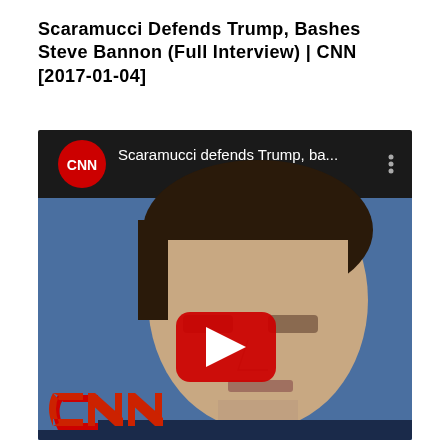Scaramucci Defends Trump, Bashes Steve Bannon (Full Interview) | CNN [2017-01-04]
[Figure (screenshot): YouTube video embed showing a CNN video thumbnail. The video card shows the CNN logo (red circle with white CNN text) on a black bar at the top with the title 'Scaramucci defends Trump, ba...' and a vertical three-dot menu icon. Below is a photo of Anthony Scaramucci against a blue background with a large red YouTube play button in the center. The CNN logo watermark appears in the lower left of the image.]